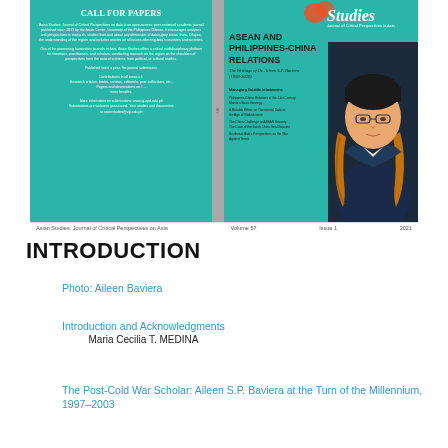[Figure (illustration): Journal cover of Asian Studies: Journal of Critical Perspectives on Asia, showing a Call for Papers on the left panel (teal background) and the issue title 'ASEAN AND PHILIPPINES-CHINA RELATIONS: The Writings of Dr. Aileen S.P. Baviera (1959-2020)' on the right panel with a portrait illustration of a woman.]
Asian Studies: Journal of Critical Perspectives on Asia    Volume 57    Issue 1    2021
INTRODUCTION
Photo: Aileen Baviera
Introduction and Acknowledgments
Maria Cecilia T. MEDINA
The Post-Cold War Scholar: Aileen S.P. Baviera at the Turn of the Millennium, 1997–2003